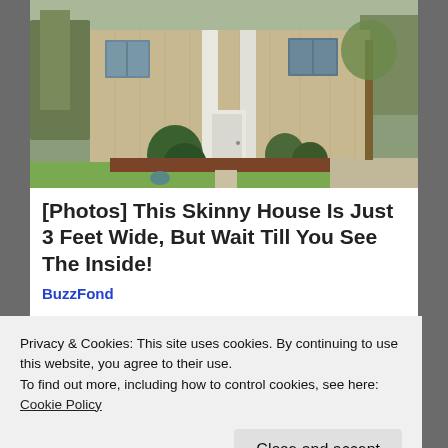[Figure (photo): Exterior photo of a two-story beige/tan house with white front door, green shrubs, and green lawn on a spring day]
[Photos] This Skinny House Is Just 3 Feet Wide, But Wait Till You See The Inside!
BuzzFond
[Figure (photo): Two partial photos side by side showing people, partially obscured by cookie overlay]
Privacy & Cookies: This site uses cookies. By continuing to use this website, you agree to their use.
To find out more, including how to control cookies, see here:
Cookie Policy
Close and accept